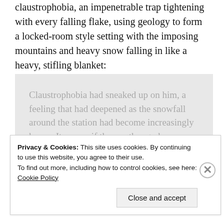claustrophobia, an impenetrable trap tightening with every falling flake, using geology to form a locked-room style setting with the imposing mountains and heavy snow falling in like a heavy, stifling blanket:
Claustrophobia had sneaked up on him, a feeling that had deepened as the snowfall around the station had become increasingly heavy. It was as if the weather gods were trying to construct a wall around the building that he would never be able to break through. He saw things around him grow dim
Privacy & Cookies: This site uses cookies. By continuing to use this website, you agree to their use.
To find out more, including how to control cookies, see here: Cookie Policy
Close and accept